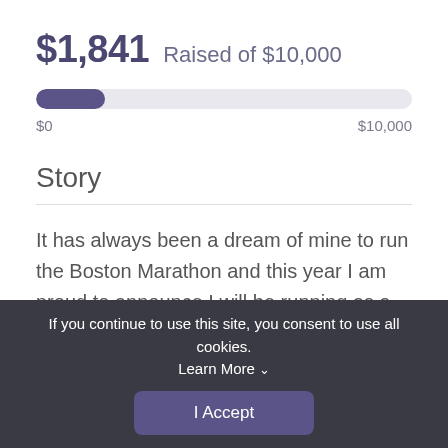$1,841 Raised of $10,000
[Figure (other): Fundraising progress bar showing $1,841 raised of $10,000 goal (approx 18.4% filled), with labels $0 on the left and $10,000 on the right]
Story
It has always been a dream of mine to run the Boston Marathon and this year I am proud to announce I will be running as a member of The Durkin Foundation. The mission of the Durkin Foundation is to aid,
If you continue to use this site, you consent to use all cookies. Learn More ∨
I Accept